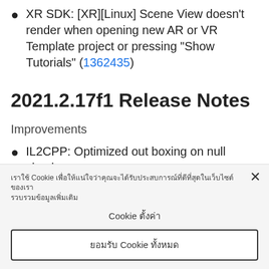XR SDK: [XR][Linux] Scene View doesn't render when opening new AR or VR Template project or pressing "Show Tutorials" (1362435)
2021.2.17f1 Release Notes
Improvements
IL2CPP: Optimized out boxing on null checks
เราใช้ Cookie เพื่อให้แน่ใจว่าคุณจะได้รับประสบการณ์ที่ดีที่สุดในเว็บไซต์ของเรา
Cookie ตั้งค่า
ยอมรับ Cookie ทั้งหมด